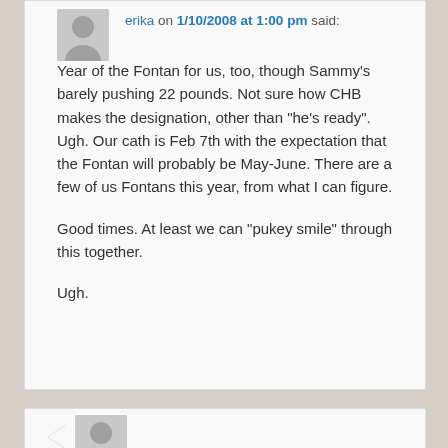erika on 1/10/2008 at 1:00 pm said:
Year of the Fontan for us, too, though Sammy's barely pushing 22 pounds. Not sure how CHB makes the designation, other than “he's ready”. Ugh. Our cath is Feb 7th with the expectation that the Fontan will probably be May-June. There are a few of us Fontans this year, from what I can figure.

Good times. At least we can “pukey smile” through this together.

Ugh.